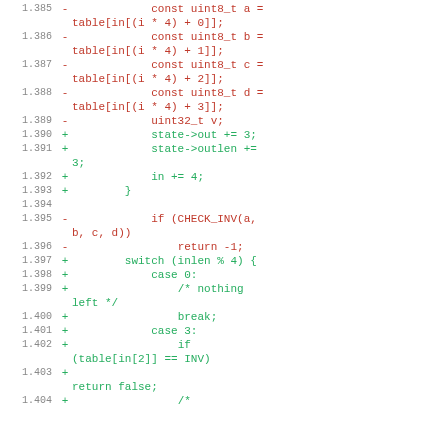Code diff showing lines 1.385 through 1.404 with removed lines (red, prefixed with -) and added lines (green, prefixed with +). Content includes C code with uint8_t variables a,b,c,d, uint32_t v, state->out, state->outlen, in pointer arithmetic, CHECK_INV check, return -1, switch(inlen%4), case 0, case 3, table checks, and comments.